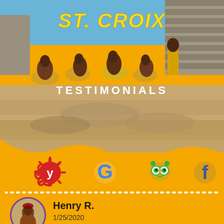[Figure (photo): Beach photo showing a group of people in yellow swimsuits posing on a sandy beach with a stone wall in the background. Overlaid text reads 'ST. CROIX' in large yellow italic letters and 'TESTIMONIALS' in white block letters below.]
ST. CROIX
TESTIMONIALS
[Figure (infographic): Social media icons row on orange background: Yelp (red), Google (blue/multi), TripAdvisor (green owl), Facebook (blue f). Followed by a white dotted horizontal line.]
Henry R.
1/25/2020